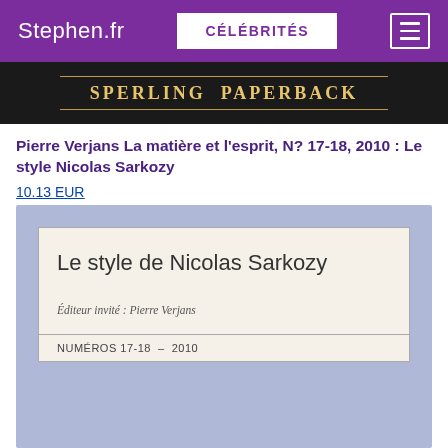Stephen.fr | CÉLÉBRITÉS
[Figure (photo): Top portion of a book with 'SPERLING PAPERBACK' text on dark background]
Pierre Verjans La matière et l'esprit, N? 17-18, 2010 : Le style Nicolas Sarkozy
10.13 EUR
[Figure (photo): Book cover: 'Le style de Nicolas Sarkozy', Éditeur invité : Pierre Verjans, NUMÉROS 17-18 – 2010, blue/lavender background]